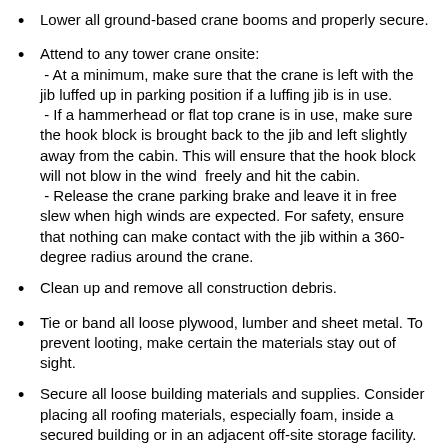Lower all ground-based crane booms and properly secure.
Attend to any tower crane onsite: - At a minimum, make sure that the crane is left with the jib luffed up in parking position if a luffing jib is in use. - If a hammerhead or flat top crane is in use, make sure the hook block is brought back to the jib and left slightly away from the cabin. This will ensure that the hook block will not blow in the wind freely and hit the cabin. - Release the crane parking brake and leave it in free slew when high winds are expected. For safety, ensure that nothing can make contact with the jib within a 360-degree radius around the crane.
Clean up and remove all construction debris.
Tie or band all loose plywood, lumber and sheet metal. To prevent looting, make certain the materials stay out of sight.
Secure all loose building materials and supplies. Consider placing all roofing materials, especially foam, inside a secured building or in an adjacent off-site storage facility.